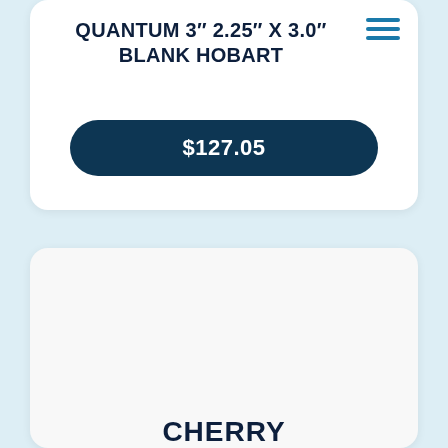QUANTUM 3″ 2.25″ X 3.0″ BLANK HOBART
$127.05
[Figure (other): Empty white product card placeholder for a second product]
CHERRY